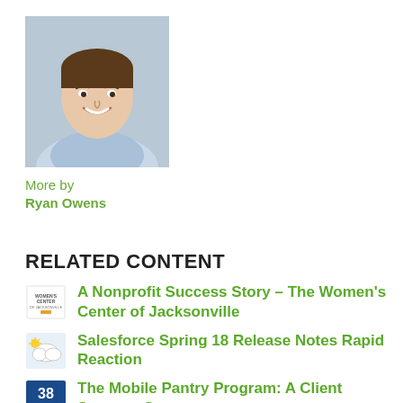[Figure (photo): Headshot of Ryan Owens, a smiling young man in a light blue shirt]
More by
Ryan Owens
RELATED CONTENT
A Nonprofit Success Story – The Women's Center of Jacksonville
Salesforce Spring 18 Release Notes Rapid Reaction
The Mobile Pantry Program: A Client Success Story